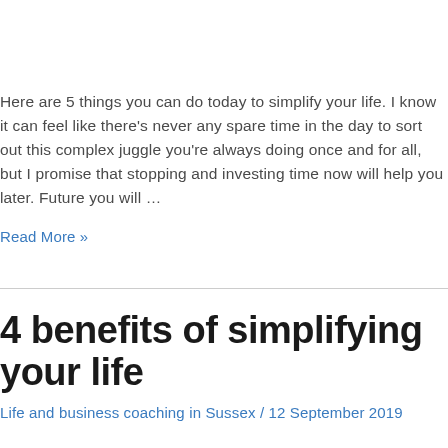Here are 5 things you can do today to simplify your life. I know it can feel like there's never any spare time in the day to sort out this complex juggle you're always doing once and for all, but I promise that stopping and investing time now will help you later. Future you will …
Read More »
4 benefits of simplifying your life
Life and business coaching in Sussex / 12 September 2019